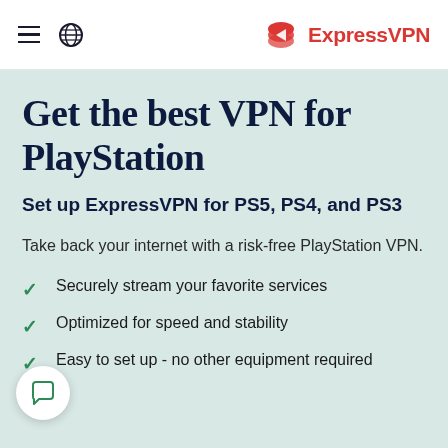ExpressVPN
Get the best VPN for PlayStation
Set up ExpressVPN for PS5, PS4, and PS3
Take back your internet with a risk-free PlayStation VPN.
Securely stream your favorite services
Optimized for speed and stability
Easy to set up - no other equipment required